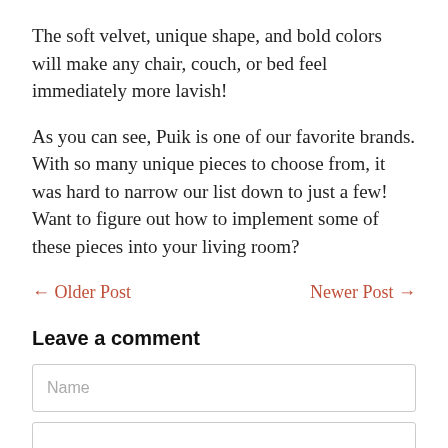The soft velvet, unique shape, and bold colors will make any chair, couch, or bed feel immediately more lavish!
As you can see, Puik is one of our favorite brands. With so many unique pieces to choose from, it was hard to narrow our list down to just a few! Want to figure out how to implement some of these pieces into your living room?
← Older Post    Newer Post →
Leave a comment
Name